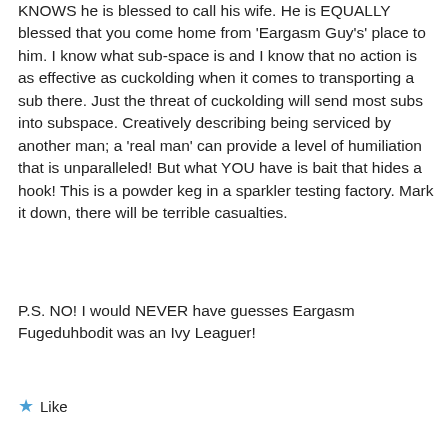KNOWS he is blessed to call his wife. He is EQUALLY blessed that you come home from 'Eargasm Guy's' place to him. I know what sub-space is and I know that no action is as effective as cuckolding when it comes to transporting a sub there. Just the threat of cuckolding will send most subs into subspace. Creatively describing being serviced by another man; a 'real man' can provide a level of humiliation that is unparalleled! But what YOU have is bait that hides a hook! This is a powder keg in a sparkler testing factory. Mark it down, there will be terrible casualties.
P.S. NO! I would NEVER have guesses Eargasm Fugeduhbodit was an Ivy Leaguer!
Like